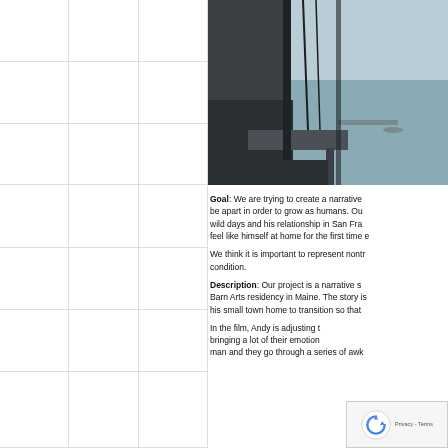[Figure (photo): Interior photo of an old industrial or barn-like space with large windows overlooking a body of water with trees and a dock visible outside. Dark wooden surfaces and cables visible inside.]
Goal: We are trying to create a narrative be apart in order to grow as humans. Ou wild days and his relationship in San Fra feel like himself at home for the first time e
We think it is important to represent nontr condition.
Description: Our project is a narrative s Barn Arts residency in Maine. The story is his small town home to transition so that
In the film, Andy is adjusting t bringing a lot of their emotion man and they go through a series of awk